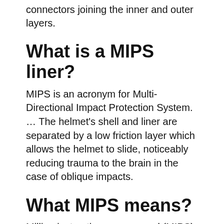connectors joining the inner and outer layers.
What is a MIPS liner?
MIPS is an acronym for Multi-Directional Impact Protection System. … The helmet's shell and liner are separated by a low friction layer which allows the helmet to slide, noticeably reducing trauma to the brain in the case of oblique impacts.
What MIPS means?
Million instructions per second (MIPS) is an approximate measure of a computer's raw processing power. MIPS figures can be misleading because measurement